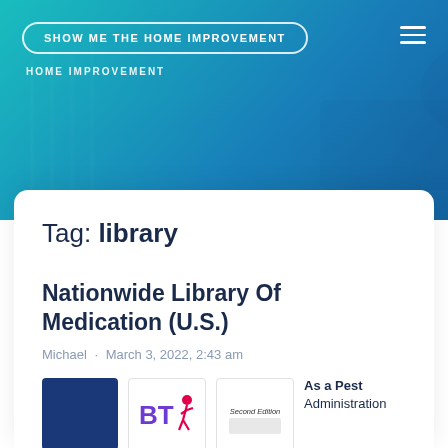SHOW ME THE HOME IMPROVEMENT
HOME IMPROVEMENT
Tag: library
Nationwide Library Of Medication (U.S.)
Michael · March 3, 2022, 2:43 am
As a Pest
Administration